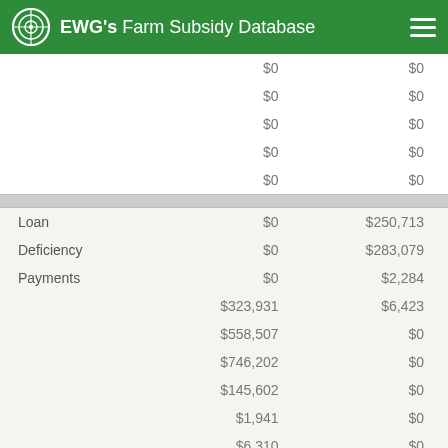EWG's Farm Subsidy Database
|  |  |  |
| --- | --- | --- |
|  | $0 | $0 |
|  | $0 | $0 |
|  | $0 | $0 |
|  | $0 | $0 |
|  | $0 | $0 |
| Loan | $0 | $250,713 |
| Deficiency | $0 | $283,079 |
| Payments | $0 | $2,284 |
|  | $323,931 | $6,423 |
|  | $558,507 | $0 |
|  | $746,202 | $0 |
|  | $145,602 | $0 |
|  | $1,941 | $0 |
|  | $6,310 | $0 |
| Loan | $0 | $250,713 |